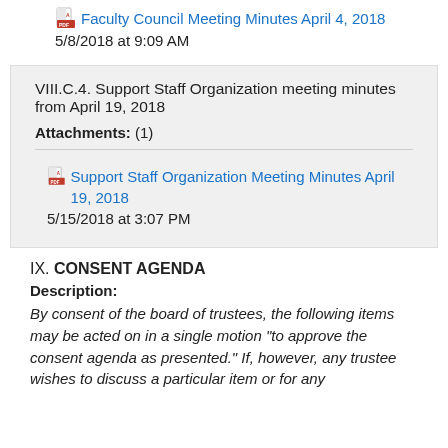Faculty Council Meeting Minutes April 4, 2018
5/8/2018 at 9:09 AM
VIII.C.4. Support Staff Organization meeting minutes from April 19, 2018
Attachments: (1)
Support Staff Organization Meeting Minutes April 19, 2018
5/15/2018 at 3:07 PM
IX. CONSENT AGENDA
Description:
By consent of the board of trustees, the following items may be acted on in a single motion "to approve the consent agenda as presented."  If, however, any trustee wishes to discuss a particular item or for any